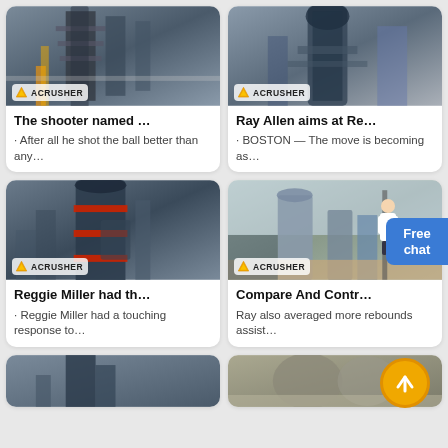[Figure (photo): Industrial crusher/mill machine in warehouse with ACRUSHER branding badge]
The shooter named ...
· After all he shot the ball better than any…
[Figure (photo): Industrial vertical mill machine in factory with ACRUSHER branding badge]
Ray Allen aims at Re...
· BOSTON — The move is becoming as…
[Figure (photo): Large industrial vertical mill/grinder machine with red bands and ACRUSHER badge]
Reggie Miller had th...
· Reggie Miller had a touching response to…
[Figure (photo): Outdoor industrial plant/factory with silos and ACRUSHER badge]
Compare And Contr...
Ray also averaged more rebounds assist…
[Figure (photo): Industrial machine bottom portion visible (cropped)]
[Figure (photo): Industrial storage tanks/silos (cropped)]